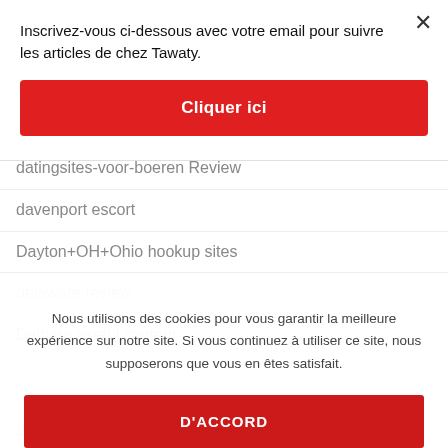Inscrivez-vous ci-dessous avec votre email pour suivre les articles de chez Tawaty.
Cliquer ici
datingsites-voor-boeren Review
davenport escort
Dayton+OH+Ohio hookup sites
delaware review
Delhara useful content
Nous utilisons des cookies pour vous garantir la meilleure expérience sur notre site. Si vous continuez à utiliser ce site, nous supposerons que vous en êtes satisfait.
D'ACCORD
des moines escort service companies